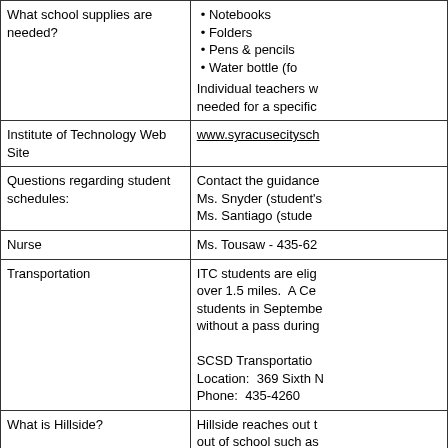| Topic | Information |
| --- | --- |
| What school supplies are needed? | • Notebooks
• Folders
• Pens & pencils
• Water bottle (f...
Individual teachers w... needed for a specific... |
| Institute of Technology Web Site | www.syracusecitysch... |
| Questions regarding student schedules: | Contact the guidance...
Ms. Snyder (student's...
Ms. Santiago (stude... |
| Nurse | Ms. Tousaw - 435-62... |
| Transportation | ITC students are elig... over 1.5 miles. A Ce... students in Septembe... without a pass during...

SCSD Transportation...
Location: 369 Sixth N...
Phone: 435-4260 |
| What is Hillside? | Hillside reaches out t... out of school such as... grade level, multiple s... scores, school attend...
Visit www.hillside.com... |
| How can a legal parent/guardian view attendance, report cards, class schedules | Visit the Home Acces...
"Parent Home Acces... |